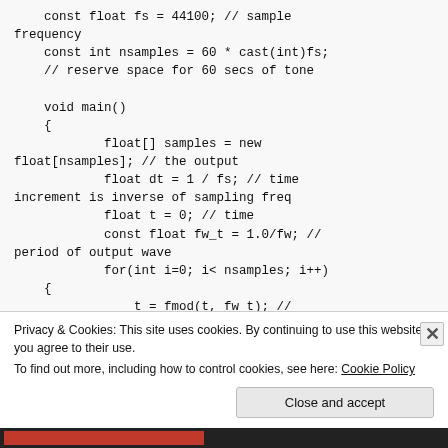const float fs = 44100; // sample frequency
const int nsamples = 60 * cast(int)fs;
// reserve space for 60 secs of tone

void main()
{
        float[] samples = new float[nsamples]; // the output
        float dt = 1 / fs; // time increment is inverse of sampling freq
        float t = 0; // time
        const float fw_t = 1.0/fw; // period of output wave
        for(int i=0; i< nsamples; i++)
{
            t = fmod(t, fw_t); //
Privacy & Cookies: This site uses cookies. By continuing to use this website, you agree to their use.
To find out more, including how to control cookies, see here: Cookie Policy
Close and accept